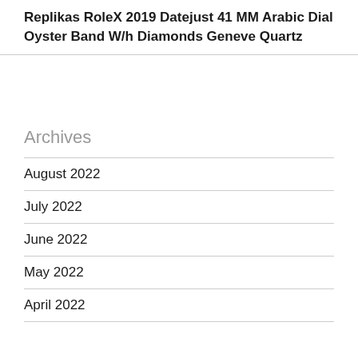Replikas RoleX 2019 Datejust 41 MM Arabic Dial Oyster Band W/h Diamonds Geneve Quartz
Archives
August 2022
July 2022
June 2022
May 2022
April 2022